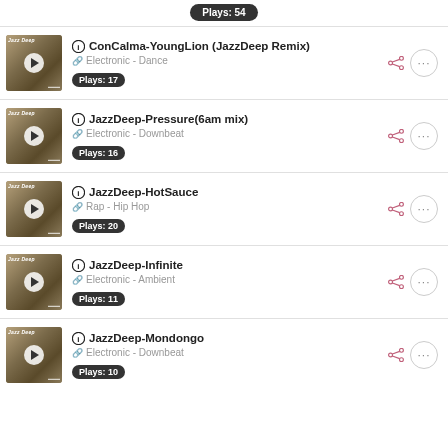Plays: 54
ConCalma-YoungLion (JazzDeep Remix) | Electronic - Dance | Plays: 17
JazzDeep-Pressure(6am mix) | Electronic - Downbeat | Plays: 16
JazzDeep-HotSauce | Rap - Hip Hop | Plays: 20
JazzDeep-Infinite | Electronic - Ambient | Plays: 11
JazzDeep-Mondongo | Electronic - Downbeat | Plays: 10